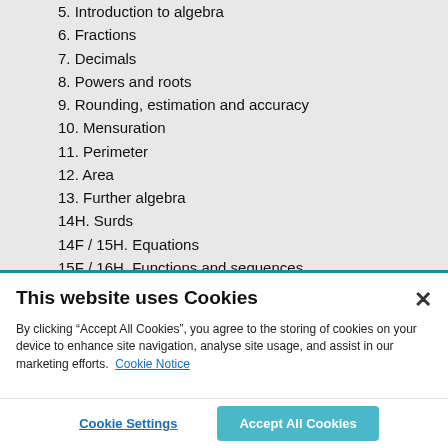5. Introduction to algebra
6. Fractions
7. Decimals
8. Powers and roots
9. Rounding, estimation and accuracy
10. Mensuration
11. Perimeter
12. Area
13. Further algebra
14H. Surds
14F / 15H. Equations
15F / 16H. Functions and sequences
16F / 17H. Formulae
17F / 18H. Volume and surface area
18F / 19H. Percentages
19F / 20H. Ratio
This website uses Cookies
By clicking “Accept All Cookies”, you agree to the storing of cookies on your device to enhance site navigation, analyse site usage, and assist in our marketing efforts. Cookie Notice
Cookie Settings
Accept All Cookies